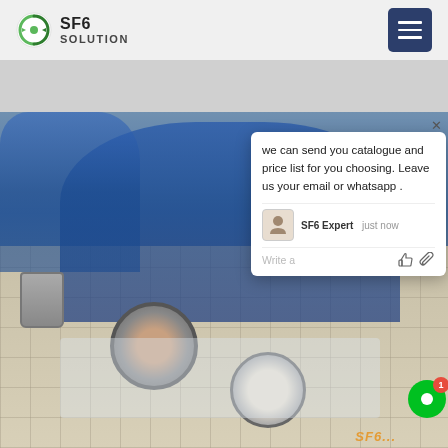SF6 SOLUTION
[Figure (screenshot): SF6 Solution website screenshot showing a header with logo, hamburger menu, gray banner, a photo of workers in blue coveralls working on SF6 equipment on a tiled floor, and a chat popup overlay with message: 'we can send you catalogue and price list for you choosing. Leave us your email or whatsapp .' from SF6 Expert, just now.]
we can send you catalogue and price list for you choosing. Leave us your email or whatsapp .
SF6 Expert    just now
Write a